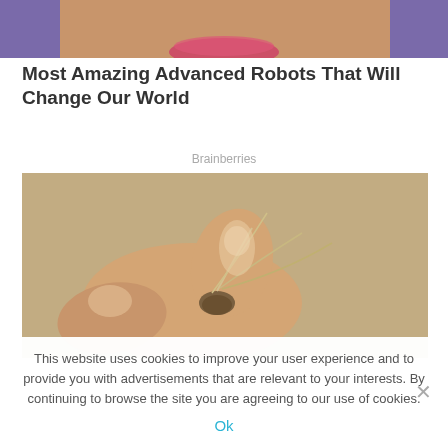[Figure (photo): Partial view of a person's face with pink/red lips and purple background, cropped at top of page]
Most Amazing Advanced Robots That Will Change Our World
Brainberries
[Figure (photo): Close-up photo of a hand holding a small sprouting seed with thin white roots visible against a tan/brown background]
This website uses cookies to improve your user experience and to provide you with advertisements that are relevant to your interests. By continuing to browse the site you are agreeing to our use of cookies.
Ok